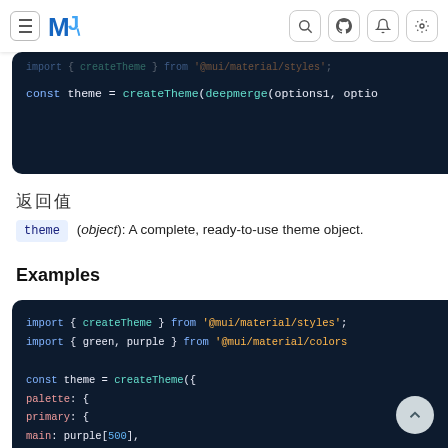MUI navigation bar with hamburger menu, logo, search, github, notification, and settings icons
[Figure (screenshot): Code block showing: import { createTheme } from '@mui/material/styles'; (dimmed top line) and const theme = createTheme(deepmerge(options1, optio... on dark navy background]
返回值
theme (object): A complete, ready-to-use theme object.
Examples
[Figure (screenshot): Code block on dark navy background showing: import { createTheme } from '@mui/material/styles'; import { green, purple } from '@mui/material/colors'; const theme = createTheme({ palette: { primary: { main: purple[500], }, },]